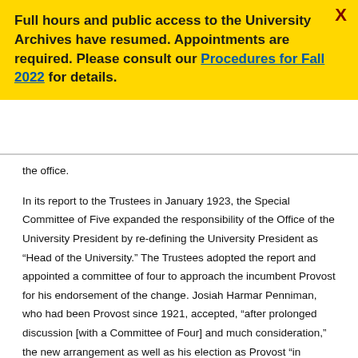Full hours and public access to the University Archives have resumed. Appointments are required. Please consult our Procedures for Fall 2022 for details.
the office.
In its report to the Trustees in January 1923, the Special Committee of Five expanded the responsibility of the Office of the University President by re-defining the University President as “Head of the University.” The Trustees adopted the report and appointed a committee of four to approach the incumbent Provost for his endorsement of the change. Josiah Harmar Penniman, who had been Provost since 1921, accepted, “after prolonged discussion [with a Committee of Four] and much consideration,” the new arrangement as well as his election as Provost “in accordance with the report of